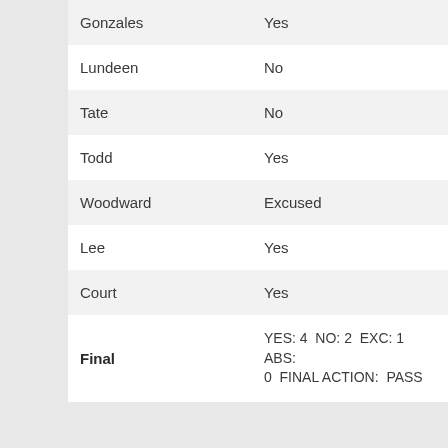| Name | Vote |
| --- | --- |
| Gonzales | Yes |
| Lundeen | No |
| Tate | No |
| Todd | Yes |
| Woodward | Excused |
| Lee | Yes |
| Court | Yes |
| Final | YES: 4  NO: 2  EXC: 1  ABS: 0  FINAL ACTION: PASS |